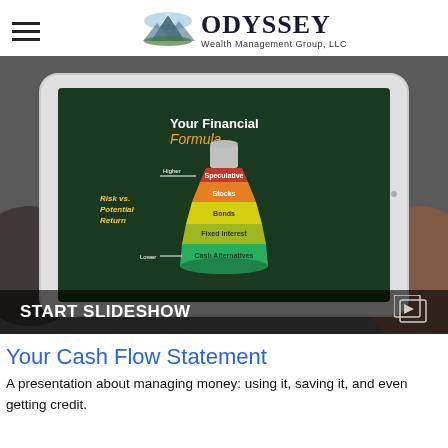ODYSSEY Wealth Management Group, LLC
[Figure (photo): A tablet being held in two hands displaying a slide titled 'Your Financial Formula' with an illustration of a beaker/flask showing risk vs. potential return layers (speculative, stocks, bonds, fixed interest, cash alternatives) going from red at top to green at bottom. Background shows an outdoor setting. A 'START SLIDESHOW' bar with a play icon appears at the bottom of the image.]
Your Cash Flow Statement
A presentation about managing money: using it, saving it, and even getting credit.